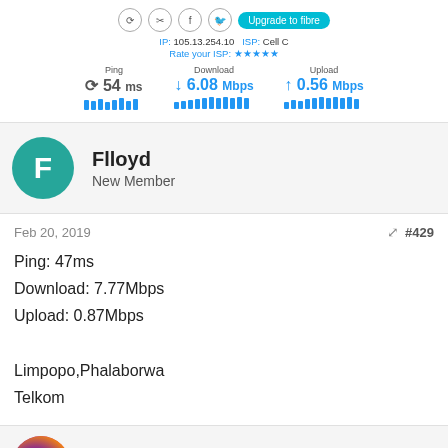[Figure (screenshot): Speed test result showing Ping: 54ms, Download: 6.08 Mbps, Upload: 0.56 Mbps, IP: 105.13.254.10, ISP: Cell C, with bar graphics]
Flloyd
New Member
Feb 20, 2019
#429
Ping: 47ms
Download: 7.77Mbps
Upload: 0.87Mbps

Limpopo,Phalaborwa
Telkom
Londo
Senior Member